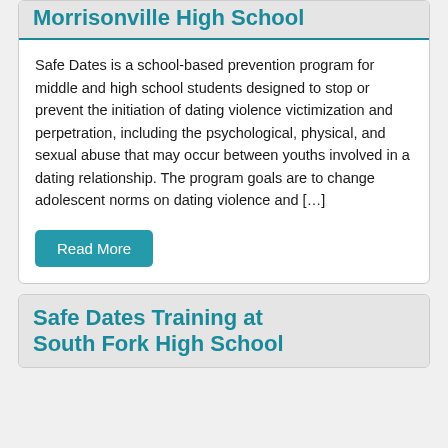Morrisonville High School
Safe Dates is a school-based prevention program for middle and high school students designed to stop or prevent the initiation of dating violence victimization and perpetration, including the psychological, physical, and sexual abuse that may occur between youths involved in a dating relationship. The program goals are to change adolescent norms on dating violence and […]
Read More
Safe Dates Training at South Fork High School